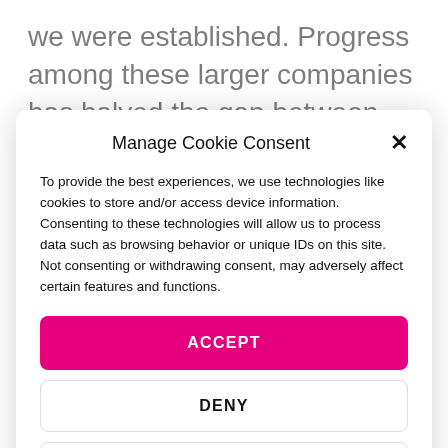we were established. Progress among these larger companies has halved the gap between Ireland's performance and the EU average for larger
Manage Cookie Consent
To provide the best experiences, we use technologies like cookies to store and/or access device information. Consenting to these technologies will allow us to process data such as browsing behavior or unique IDs on this site. Not consenting or withdrawing consent, may adversely affect certain features and functions.
ACCEPT
DENY
VIEW PREFERENCES
Terms & Conditions